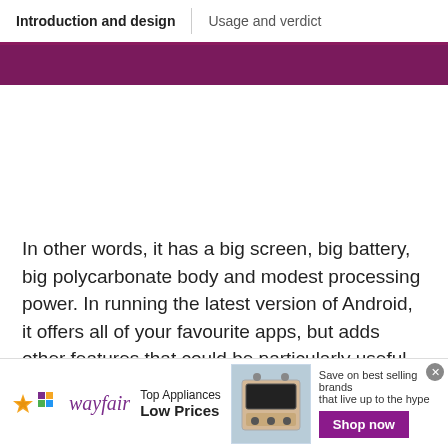Introduction and design | Usage and verdict
[Figure (other): Purple banner decorative element below navigation tabs]
In other words, it has a big screen, big battery, big polycarbonate body and modest processing power. In running the latest version of Android, it offers all of your favourite apps, but adds other features that could be particularly useful to outdoor workers, such as fast wireless charging and press-to-talk calling (PTT).
[Figure (other): Wayfair advertisement banner: Top Appliances Low Prices, Save on best selling brands that live up to the hype, Shop now button]